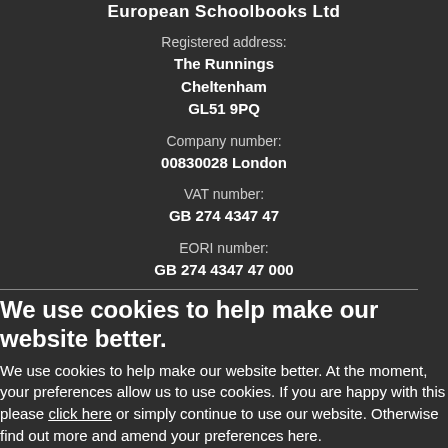European Schoolbooks Ltd
Registered address:
The Runnings
Cheltenham
GL51 9PQ
Company number:
00830028 London
VAT number:
GB 274 4347 47
EORI number:
GB 274 4347 47 000
We use cookies to help make our website better.
We use cookies to help make our website better. At the moment, your preferences allow us to use cookies. If you are happy with this please click here or simply continue to use our website. Otherwise find out more and amend your preferences here.